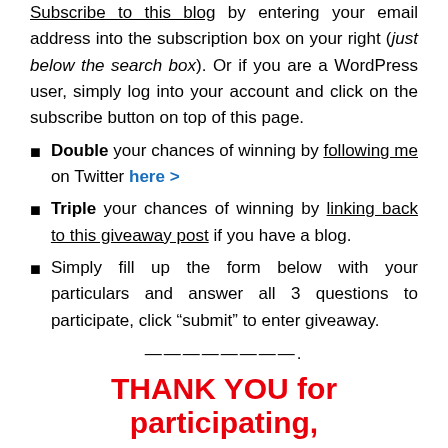Subscribe to this blog by entering your email address into the subscription box on your right (just below the search box). Or if you are a WordPress user, simply log into your account and click on the subscribe button on top of this page.
Double your chances of winning by following me on Twitter here >
Triple your chances of winning by linking back to this giveaway post if you have a blog.
Simply fill up the form below with your particulars and answer all 3 questions to participate, click “submit” to enter giveaway.
———————————.
THANK YOU for participating,